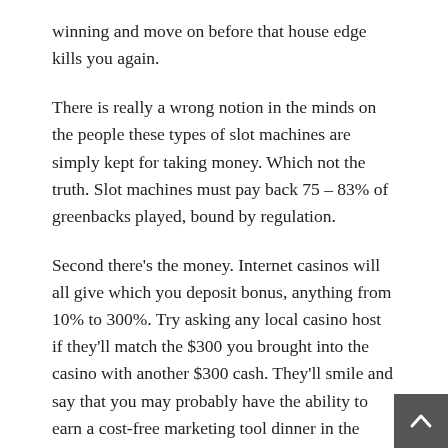winning and move on before that house edge kills you again.
There is really a wrong notion in the minds on the people these types of slot machines are simply kept for taking money. Which not the truth. Slot machines must pay back 75 – 83% of greenbacks played, bound by regulation.
Second there's the money. Internet casinos will all give which you deposit bonus, anything from 10% to 300%. Try asking any local casino host if they'll match the $300 you brought into the casino with another $300 cash. They'll smile and say that you may probably have the ability to earn a cost-free marketing tool dinner in the casino buffet valued at $15. Choosing an online casino is similar to instantly doubling your superslot